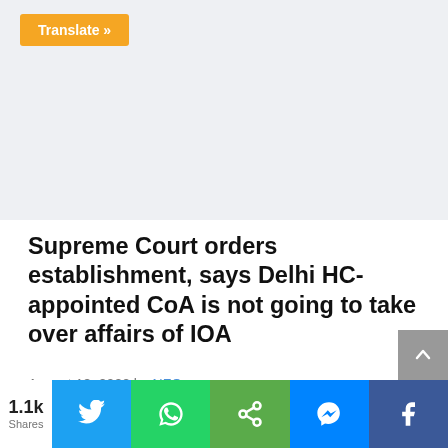[Figure (screenshot): Orange Translate button on grey background area, representing a web page translate widget]
Supreme Court orders establishment, says Delhi HC-appointed CoA is not going to take over affairs of IOA
August 18, 2022 by NFO
1.1k Shares
[Figure (infographic): Social share bar with Twitter, WhatsApp, Share, Messenger, and Facebook buttons]